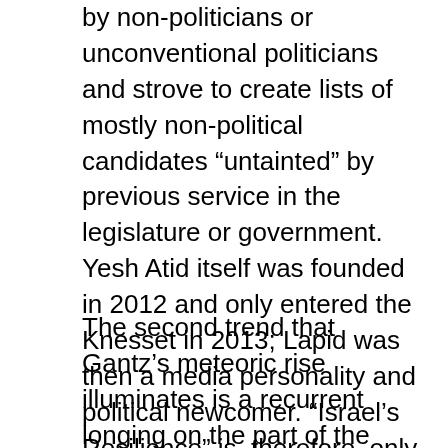members of Likud and Likud — were often headed by non-politicians or unconventional politicians and strove to create lists of mostly non-political candidates “untainted” by previous service in the legislature or government. Yesh Atid itself was founded in 2012 and only entered the Knesset in 2013; Lapid was then a media personality and political newcomer. “Israel’s Resilience” is, therefore, only the latest example of a long tradition in Israeli politics.
The second trend that Gantz’s meteoric rise illuminates is a recurrent longing on the part of the Israeli public for a “man on horseback”—a politically unsullied general who rises above mere